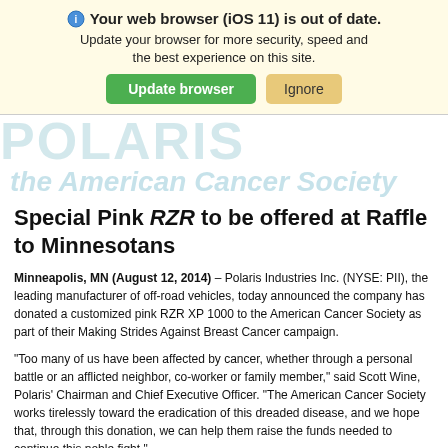[Figure (screenshot): Browser update warning banner with iOS 11 out of date message, Update browser and Ignore buttons on a light yellow background]
the American Cancer Society
Special Pink RZR to be offered at Raffle to Minnesotans
Minneapolis, MN (August 12, 2014) – Polaris Industries Inc. (NYSE: PII), the leading manufacturer of off-road vehicles, today announced the company has donated a customized pink RZR XP 1000 to the American Cancer Society as part of their Making Strides Against Breast Cancer campaign.
"Too many of us have been affected by cancer, whether through a personal battle or an afflicted neighbor, co-worker or family member," said Scott Wine, Polaris' Chairman and Chief Executive Officer. "The American Cancer Society works tirelessly toward the eradication of this dreaded disease, and we hope that, through this donation, we can help them raise the funds needed to continue this noble fight."
Unveiled at the 2015 Polaris Summer Dealer Show in Minneapolis, Minn., the one-